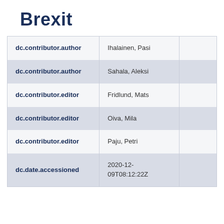Brexit
|  |  |  |
| --- | --- | --- |
| dc.contributor.author | Ihalainen, Pasi |  |
| dc.contributor.author | Sahala, Aleksi |  |
| dc.contributor.editor | Fridlund, Mats |  |
| dc.contributor.editor | Oiva, Mila |  |
| dc.contributor.editor | Paju, Petri |  |
| dc.date.accessioned | 2020-12-09T08:12:22Z |  |